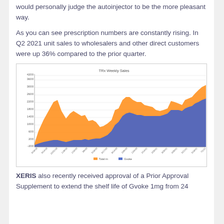would personally judge the autoinjector to be the more pleasant way.
As you can see prescription numbers are constantly rising. In Q2 2021 unit sales to wholesalers and other direct customers were up 36% compared to the prior quarter.
[Figure (area-chart): Stacked area chart showing TRx Weekly Sales over time from mid-2018 to mid-2021. Two series: Gvoke (blue, bottom) and Total (orange, top). Both trend upward over time, with orange reaching ~4000+ and blue reaching ~1800+ by the end of the period.]
XERIS also recently received approval of a Prior Approval Supplement to extend the shelf life of Gvoke 1mg from 24